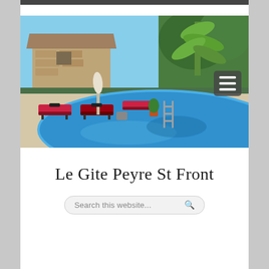[Figure (photo): Outdoor swimming pool with blue water, pool ladder on right side, pink/red sun loungers around the pool deck, a closed white parasol, a stone building in the background left, and lush green tropical trees on the right. A green fence separates the pool area from the background.]
Le Gite Peyre St Front
Search this website...